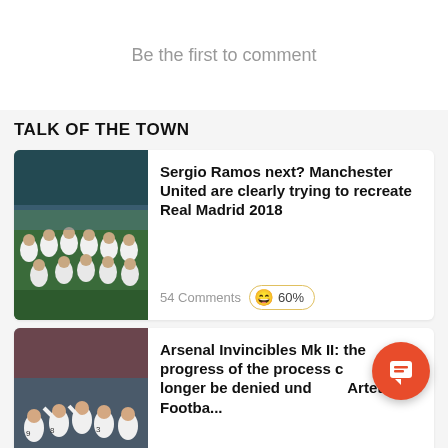Be the first to comment
TALK OF THE TOWN
[Figure (photo): Real Madrid football team squad photo in white kits]
Sergio Ramos next? Manchester United are clearly trying to recreate Real Madrid 2018
54 Comments 😄 60%
[Figure (photo): Arsenal football players celebrating in white kits]
Arsenal Invincibles Mk II: the progress of the process can no longer be denied under Arteta - Footba...
33 Comments 😄 67%